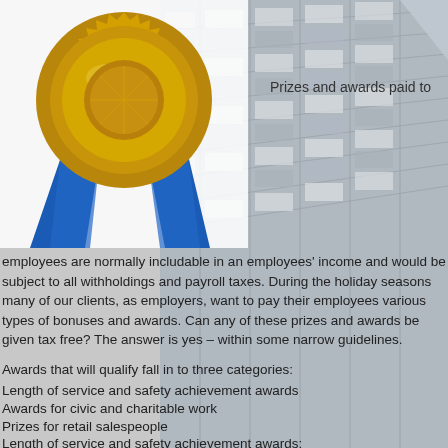[Figure (photo): Gold award medal with blue ribbon on left side, and a tall office building facade in background on right side]
Prizes and awards paid to
employees are normally includable in an employees' income and would be subject to all withholdings and payroll taxes. During the holiday seasons many of our clients, as employers, want to pay their employees various types of bonuses and awards. Can any of these prizes and awards be given tax free? The answer is yes – within some narrow guidelines.
Awards that will qualify fall in to three categories:
Length of service and safety achievement awards
Awards for civic and charitable work
Prizes for retail salespeople
Length of service and safety achievement awards: